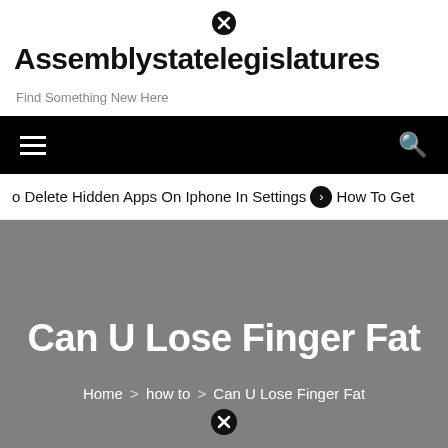⊗
Assemblystatelegislatures
Find Something New Here
[Figure (screenshot): Black navigation bar with hamburger menu icon on left and search icon on right]
o Delete Hidden Apps On Iphone In Settings  ➤  How To Get
Can U Lose Finger Fat
Home > how to > Can U Lose Finger Fat
[Figure (other): Close/cancel circle icon at bottom of hero section]